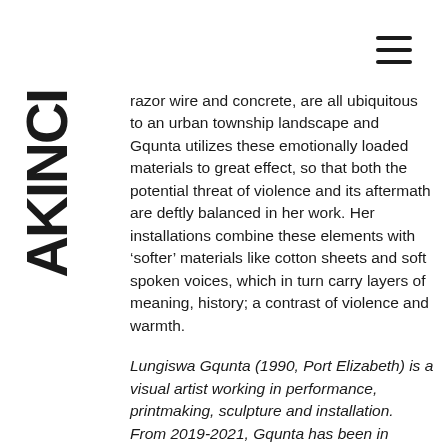AKINCI (vertical logo)
razor wire and concrete, are all ubiquitous to an urban township landscape and Gqunta utilizes these emotionally loaded materials to great effect, so that both the potential threat of violence and its aftermath are deftly balanced in her work. Her installations combine these elements with ‘softer’ materials like cotton sheets and soft spoken voices, which in turn carry layers of meaning, history; a contrast of violence and warmth.
Lungiswa Gqunta (1990, Port Elizabeth) is a visual artist working in performance, printmaking, sculpture and installation. From 2019-2021, Gqunta has been in residence at the Rijksakademie van beeldende kunsten in Amsterdam. Gqunta has also obtained her undergraduate degree at the Nelson Mandela Metropolitan University in 2012 and her MFA at the Michaelis School of Fine Arts in Cape Town in 2017.
In addition to her practice, Gqunta is one of the